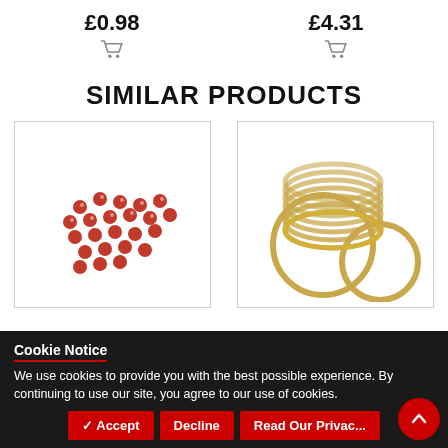£0.98
£4.31
SIMILAR PRODUCTS
[Figure (photo): Red rhinestone gems scattered on white background]
[Figure (photo): Gold metallic rings stacked together on white background]
Cookie Notice
We use cookies to provide you with the best possible experience. By continuing to use our site, you agree to our use of cookies.
✓ Accept
Decline
Read Our Privacy Policy